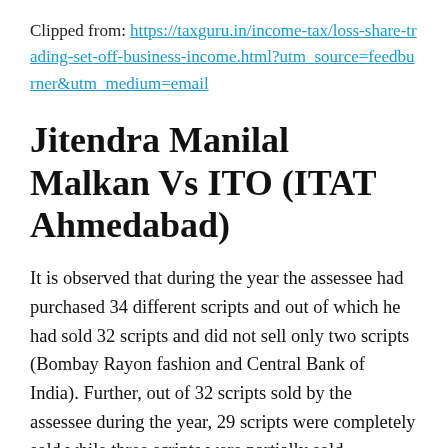Clipped from: https://taxguru.in/income-tax/loss-share-trading-set-off-business-income.html?utm_source=feedburner&utm_medium=email
Jitendra Manilal Malkan Vs ITO (ITAT Ahmedabad)
It is observed that during the year the assessee had purchased 34 different scripts and out of which he had sold 32 scripts and did not sell only two scripts (Bombay Rayon fashion and Central Bank of India). Further, out of 32 scripts sold by the assessee during the year, 29 scripts were completely sold while three scripts were partially sold.